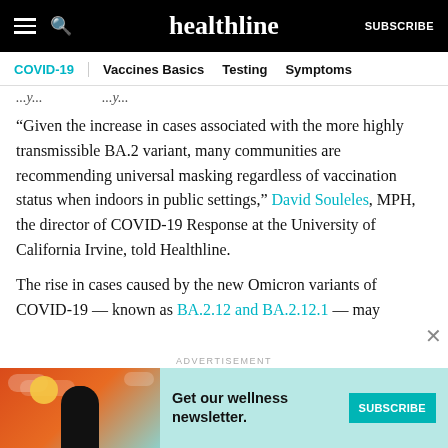healthline | SUBSCRIBE
COVID-19 | Vaccines Basics | Testing | Symptoms
...y...y...
“Given the increase in cases associated with the more highly transmissible BA.2 variant, many communities are recommending universal masking regardless of vaccination status when indoors in public settings,” David Souleles, MPH, the director of COVID-19 Response at the University of California Irvine, told Healthline.
The rise in cases caused by the new Omicron variants of COVID-19 — known as BA.2.12 and BA.2.12.1 — may
[Figure (other): Advertisement banner: Get our wellness newsletter. SUBSCRIBE button. Colorful illustration of a woman with orange/red background.]